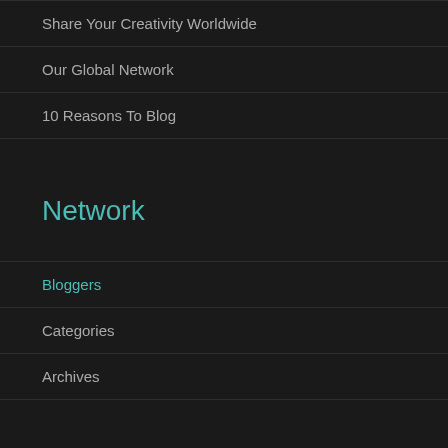Share Your Creativity Worldwide
Our Global Network
10 Reasons To Blog
Network
Bloggers
Categories
Archives
Shortcuts